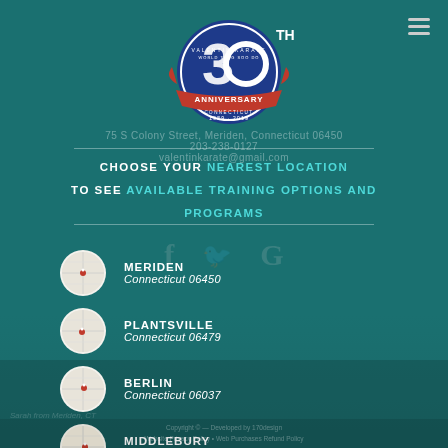[Figure (logo): Valentin Karate 30th Anniversary logo with '30TH ANNIVERSARY 1989-2019 Connecticut World Tang Soo Do' badge in blue, red and white]
75 S Colony Street, Meriden, Connecticut 06450
203-238-0127
valentinkarate@gmail.com
CHOOSE YOUR NEAREST LOCATION TO SEE AVAILABLE TRAINING OPTIONS AND PROGRAMS
MERIDEN
Connecticut 06450
PLANTSVILLE
Connecticut 06479
BERLIN
Connecticut 06037
MIDDLEBURY
Connecticut 06762
Copyright © — Developed by 170design
Website Privacy Policy • Web Purchases Refund Policy